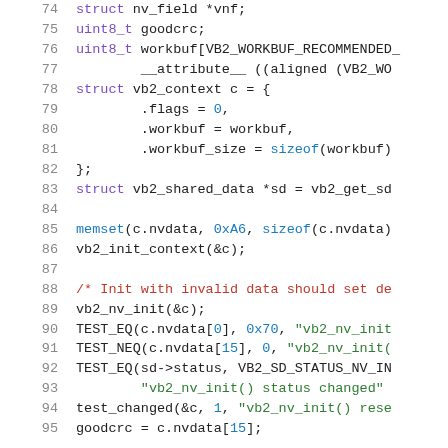[Figure (screenshot): Source code listing in C, lines 74-95, showing struct definitions, memset calls, vb2 context and NV initialization with syntax highlighting (purple keywords, blue numbers/function names, green strings, red comments, black plain text).]